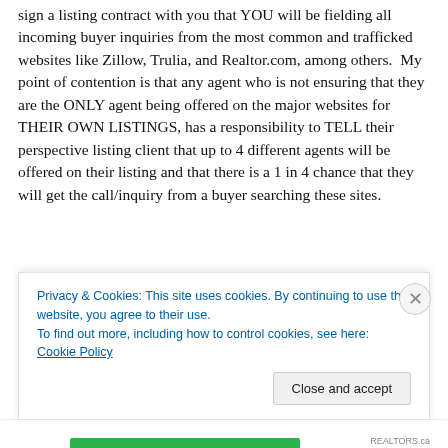sign a listing contract with you that YOU will be fielding all incoming buyer inquiries from the most common and trafficked websites like Zillow, Trulia, and Realtor.com, among others.  My point of contention is that any agent who is not ensuring that they are the ONLY agent being offered on the major websites for THEIR OWN LISTINGS, has a responsibility to TELL their perspective listing client that up to 4 different agents will be offered on their listing and that there is a 1 in 4 chance that they will get the call/inquiry from a buyer searching these sites.
Think of it this way – allowing up to 3-4 agents names and
Privacy & Cookies: This site uses cookies. By continuing to use this website, you agree to their use.
To find out more, including how to control cookies, see here: Cookie Policy